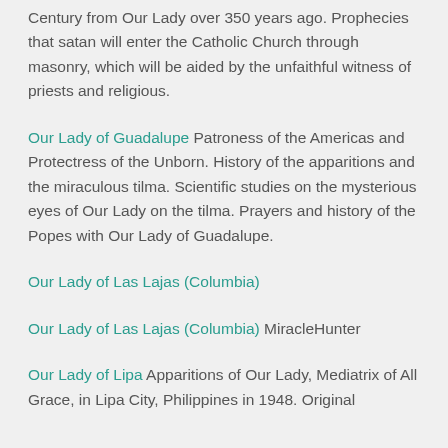Century from Our Lady over 350 years ago. Prophecies that satan will enter the Catholic Church through masonry, which will be aided by the unfaithful witness of priests and religious.
Our Lady of Guadalupe Patroness of the Americas and Protectress of the Unborn. History of the apparitions and the miraculous tilma. Scientific studies on the mysterious eyes of Our Lady on the tilma. Prayers and history of the Popes with Our Lady of Guadalupe.
Our Lady of Las Lajas (Columbia)
Our Lady of Las Lajas (Columbia) MiracleHunter
Our Lady of Lipa Apparitions of Our Lady, Mediatrix of All Grace, in Lipa City, Philippines in 1948. Original